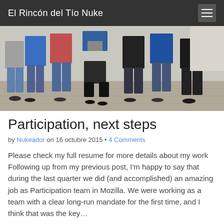El Rincón del Tío Nuke
[Figure (photo): Group of people standing outdoors on a paved area, facing the camera. Seven individuals visible from roughly chest/waist down, wearing casual clothes in various colors including blue, red, and striped patterns.]
Participation, next steps
by Nukeador on 16 octubre 2015 • 4 Comments
Please check my full resume for more details about my work Following up from my previous post, I'm happy to say that during the last quarter we did (and accomplished) an amazing job as Participation team in Mozilla. We were working as a team with a clear long-run mandate for the first time, and I think that was the key…